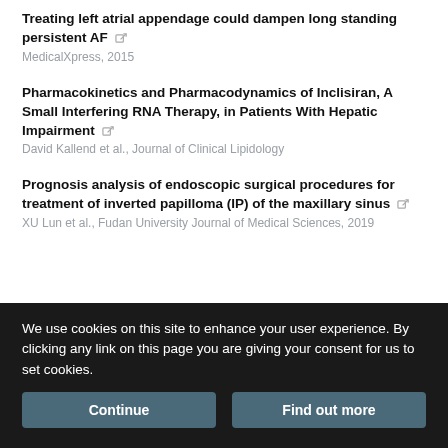Treating left atrial appendage could dampen long standing persistent AF
MedicalXpress, 2015
Pharmacokinetics and Pharmacodynamics of Inclisiran, A Small Interfering RNA Therapy, in Patients With Hepatic Impairment
David Kallend et al., Journal of Clinical Lipidology
Prognosis analysis of endoscopic surgical procedures for treatment of inverted papilloma (IP) of the maxillary sinus
XU Lun et al., Fudan University Journal of Medical Sciences, 2019
[Figure (logo): Powered by TRENDMD logo with gear icon]
We use cookies on this site to enhance your user experience. By clicking any link on this page you are giving your consent for us to set cookies.
Continue | Find out more